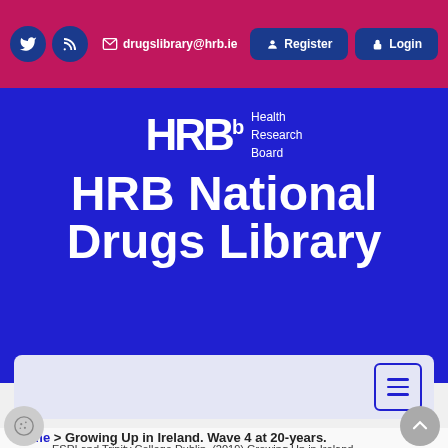drugslibrary@hrb.ie | Register | Login
[Figure (logo): HRB Health Research Board logo in white on blue background]
HRB National Drugs Library
[Figure (screenshot): Search bar with hamburger menu button]
Home > Growing Up in Ireland. Wave 4 at 20-years.
ESRI and Trinity College Dublin. (2019) Growing Up in Ireland.